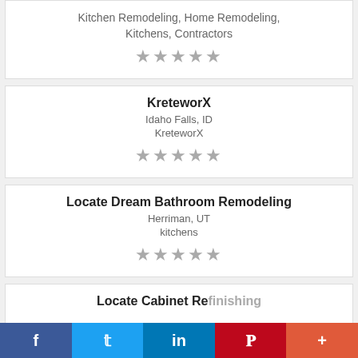Kitchen Remodeling, Home Remodeling, Kitchens, Contractors
[Figure (other): 5 grey stars rating]
KreteworX
Idaho Falls, ID
KreteworX
[Figure (other): 5 grey stars rating]
Locate Dream Bathroom Remodeling
Herriman, UT
kitchens
[Figure (other): 5 grey stars rating]
Locate Cabinet Refinishing
[Figure (other): Social sharing bar with Facebook, Twitter, LinkedIn, Pinterest, and More buttons]